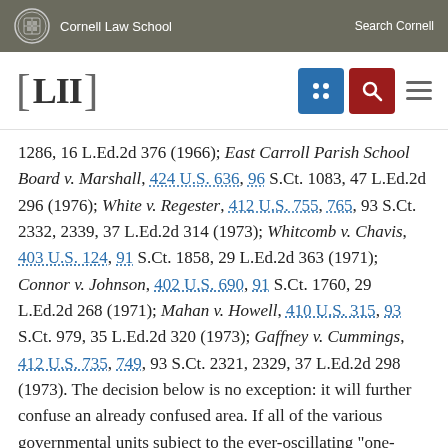Cornell Law School  Search Cornell
1286, 16 L.Ed.2d 376 (1966); East Carroll Parish School Board v. Marshall, 424 U.S. 636, 96 S.Ct. 1083, 47 L.Ed.2d 296 (1976); White v. Regester, 412 U.S. 755, 765, 93 S.Ct. 2332, 2339, 37 L.Ed.2d 314 (1973); Whitcomb v. Chavis, 403 U.S. 124, 91 S.Ct. 1858, 29 L.Ed.2d 363 (1971); Connor v. Johnson, 402 U.S. 690, 91 S.Ct. 1760, 29 L.Ed.2d 268 (1971); Mahan v. Howell, 410 U.S. 315, 93 S.Ct. 979, 35 L.Ed.2d 320 (1973); Gaffney v. Cummings, 412 U.S. 735, 749, 93 S.Ct. 2321, 2329, 37 L.Ed.2d 298 (1973). The decision below is no exception: it will further confuse an already confused area. If all of the various governmental units subject to the ever-oscillating "one-person,